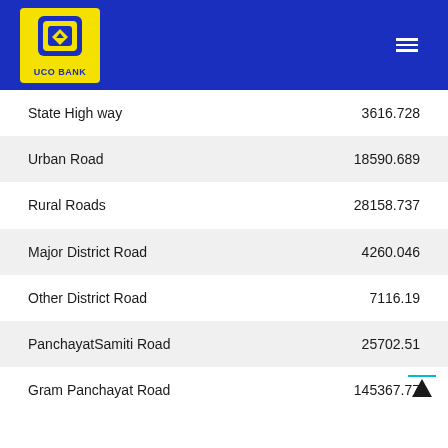[Figure (logo): UCO Bank logo — yellow square background with blue diamond/shield icon and text 'UCO BANK' below, on a dark blue header bar with hamburger menu icon on the right]
| Road Type | Value |
| --- | --- |
| State High way | 3616.728 |
| Urban Road | 18590.689 |
| Rural Roads | 28158.737 |
| Major District Road | 4260.046 |
| Other District Road | 7116.19 |
| PanchayatSamiti Road | 25702.51 |
| Gram Panchayat Road | 145367.77 |